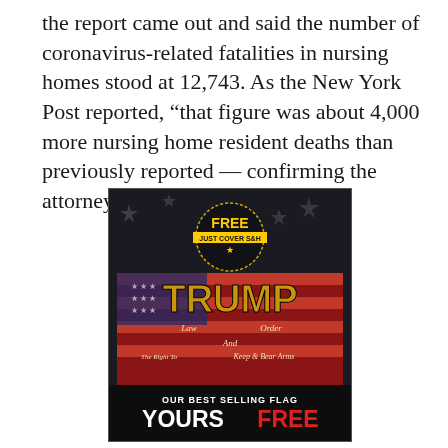the report came out and said the number of coronavirus-related fatalities in nursing homes stood at 12,743. As the New York Post reported, “that figure was about 4,000 more nursing home resident deaths than previously reported — confirming the attorney general’s finding.”
[Figure (photo): Advertisement image showing a Trump-branded American flag product with text 'FREE JUST COVER S&H' in a badge at the top, the flag reading 'TRUMP Law Order And The Right To Keep & Bear Arms', with bottom text 'OUR BEST SELLING FLAG YOURS FREE' where FREE is in red.]